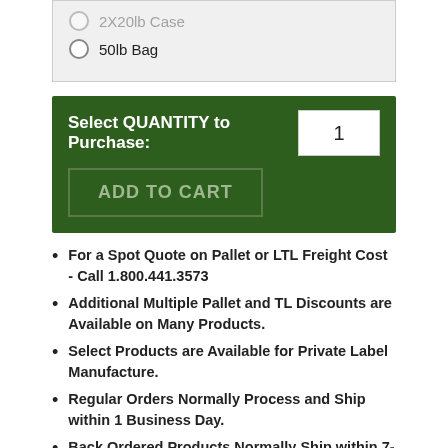2X20lb Case
50lb Bag
Select QUANTITY to Purchase: 1
ADD TO CART
For a Spot Quote on Pallet or LTL Freight Cost - Call 1.800.441.3573
Additional Multiple Pallet and TL Discounts are Available on Many Products.
Select Products are Available for Private Label Manufacture.
Regular Orders Normally Process and Ship within 1 Business Day.
Back Ordered Products Normally Ship within 7-21